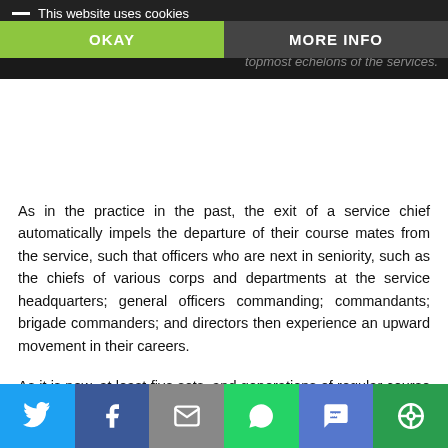…officers and induce unduly early mature retirements, in the topmost echelons of the services.
As in the practice in the past, the exit of a service chief automatically impels the departure of their course mates from the service, such that officers who are next in seniority, such as the chiefs of various corps and departments at the service headquarters; general officers commanding; commandants; brigade commanders; and directors then experience an upward movement in their careers.
As it is now, at least five sets, and generations of regular course (RC) members, including those in the 27th, 28th, 29th, 30th, 31st, 32nd and 33rd courses, with the exception of Lt. General Adeosun, have left the service without any of them attaining the highest military positions in their various services. There is